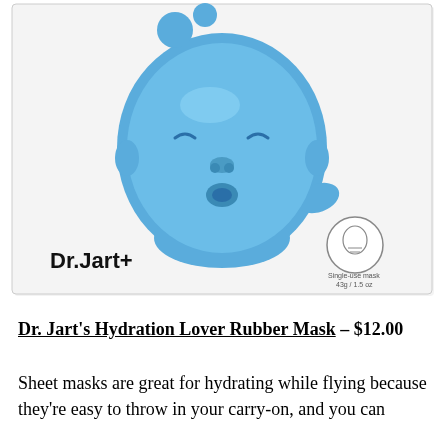[Figure (photo): Product photo of Dr.Jart+ Hydration Lover Rubber Mask packaging. A white square package showing a blue 3D sculptural face (baby-like face with blue liquid/gel splashes around it). The Dr.Jart+ brand name is printed in bold black on the lower left. A small oval face mask icon appears on the lower right with text 'Single-use mask 43g / 1.5 oz'.]
Dr. Jart's Hydration Lover Rubber Mask – $12.00
Sheet masks are great for hydrating while flying because they're easy to throw in your carry-on, and you can